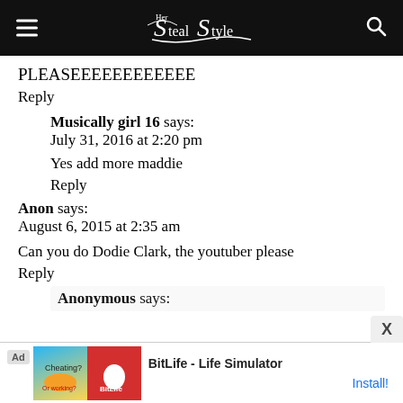Steal Her Style
PLEASEEEEEEEEEEEE
Reply
Musically girl 16 says:
July 31, 2016 at 2:20 pm
Yes add more maddie
Reply
Anon says:
August 6, 2015 at 2:35 am
Can you do Dodie Clark, the youtuber please
Reply
Anonymous says:
[Figure (other): Advertisement banner for BitLife - Life Simulator app with Ad badge, game image and Install button]